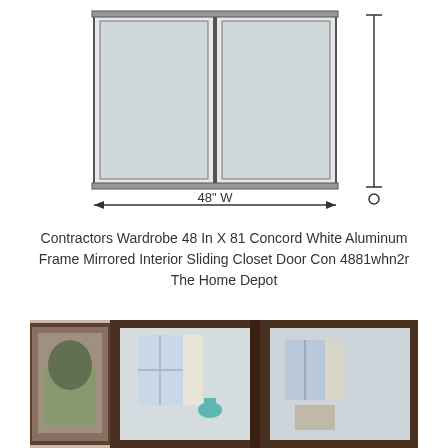[Figure (schematic): Technical line drawing of a double mirrored sliding closet door showing 48 inch width dimension arrow and height dimension arrow on the right side.]
Contractors Wardrobe 48 In X 81 Concord White Aluminum Frame Mirrored Interior Sliding Closet Door Con 4881whn2r The Home Depot
[Figure (photo): Photograph of mirrored sliding closet doors with dark brown/bronze frames installed in a room with beige walls. A framed picture is visible on the left and a blue lamp is reflected in the mirror.]